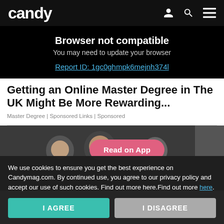candy
Browser not compatible
You may need to update your browser
Report ID: 1gc0ghmpk6mejnh374l
Getting an Online Master Degree in The UK Might Be More Rewarding...
Master Degree | Sponsored Links | Sponsored
[Figure (photo): Two overlapping photo thumbnails showing people, with a pink 'Read on App' button overlay]
We use cookies to ensure you get the best experience on Candymag.com. By continued use, you agree to our privacy policy and accept our use of such cookies. Find out more here.Find out more here.
I AGREE
I DISAGREE